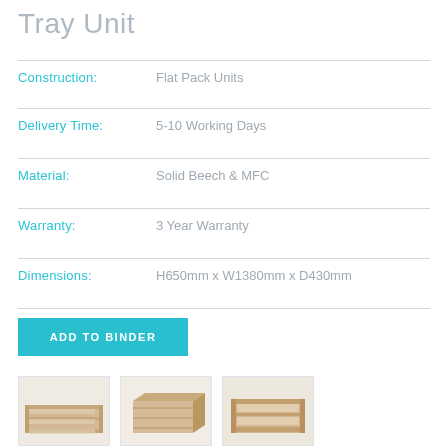Tray Unit
Construction: Flat Pack Units
Delivery Time: 5-10 Working Days
Material: Solid Beech & MFC
Warranty: 3 Year Warranty
Dimensions: H650mm x W1380mm x D430mm
ADD TO BINDER
[Figure (photo): Three thumbnail images of a tray unit furniture product shown from different angles]